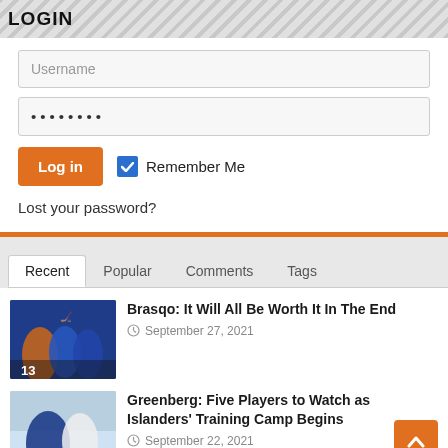LOGIN
Username
••••••••
Log in
Remember Me
Lost your password?
Recent | Popular | Comments | Tags
Brasqo: It Will All Be Worth It In The End
September 27, 2021
Greenberg: Five Players to Watch as Islanders' Training Camp Begins
September 22, 2021